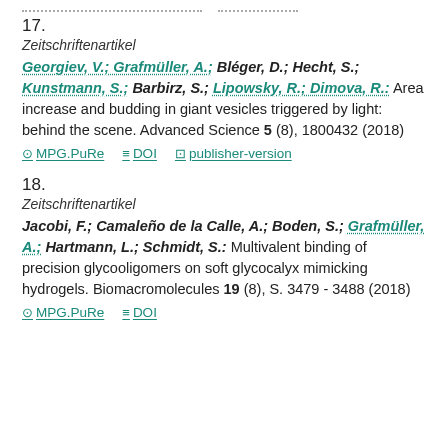17.
Zeitschriftenartikel
Georgiev, V.; Grafmüller, A.; Bléger, D.; Hecht, S.; Kunstmann, S.; Barbirz, S.; Lipowsky, R.; Dimova, R.: Area increase and budding in giant vesicles triggered by light: behind the scene. Advanced Science 5 (8), 1800432 (2018)
MPG.PuRe   DOI   publisher-version
18.
Zeitschriftenartikel
Jacobi, F.; Camaleño de la Calle, A.; Boden, S.; Grafmüller, A.; Hartmann, L.; Schmidt, S.: Multivalent binding of precision glycooligomers on soft glycocalyx mimicking hydrogels. Biomacromolecules 19 (8), S. 3479 - 3488 (2018)
MPG.PuRe   DOI